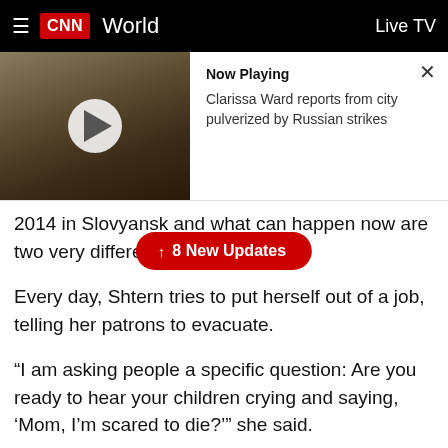CNN World  Live TV
[Figure (screenshot): Video thumbnail showing a bombed-out destroyed interior room with rubble and debris, with a white play button overlay. Beside it: 'Now Playing' label and description 'Clarissa Ward reports from city pulverized by Russian strikes'. An X close button in the top right.]
2014 in Slovyansk and what can happen now are two very different scena N.
↑ 8 New Updates
Every day, Shtern tries to put herself out of a job, telling her patrons to evacuate.
“I am asking people a specific question: Are you ready to hear your children crying and saying, 'Mom, I’m scared to die?’” she said.
As the Russian military closes in, and commercial supply lines stop, Shtern’s deliveries of food and medicine are the only lifeline for many people. The